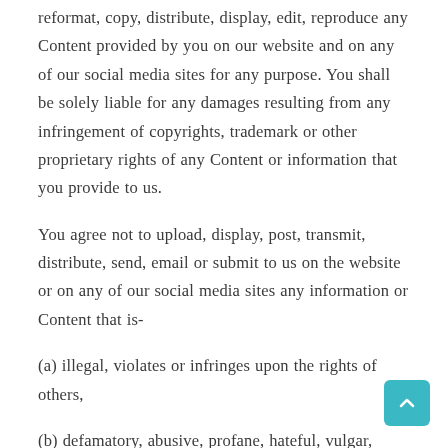reformat, copy, distribute, display, edit, reproduce any Content provided by you on our website and on any of our social media sites for any purpose. You shall be solely liable for any damages resulting from any infringement of copyrights, trademark or other proprietary rights of any Content or information that you provide to us.
You agree not to upload, display, post, transmit, distribute, send, email or submit to us on the website or on any of our social media sites any information or Content that is-
(a) illegal, violates or infringes upon the rights of others,
(b) defamatory, abusive, profane, hateful, vulgar, obscene, libelous, pornographic, threatening,